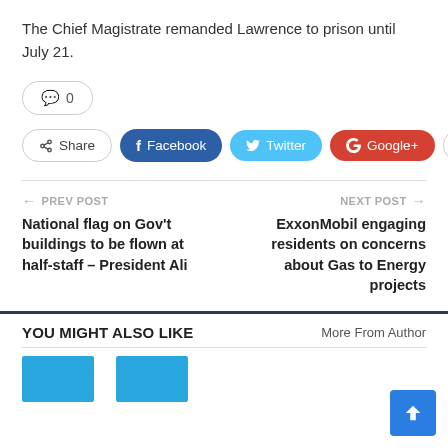The Chief Magistrate remanded Lawrence to prison until July 21.
💬 0
Share | Facebook | Twitter | Google+ | +
← PREV POST
National flag on Gov't buildings to be flown at half-staff – President Ali
NEXT POST →
ExxonMobil engaging residents on concerns about Gas to Energy projects
YOU MIGHT ALSO LIKE
More From Author